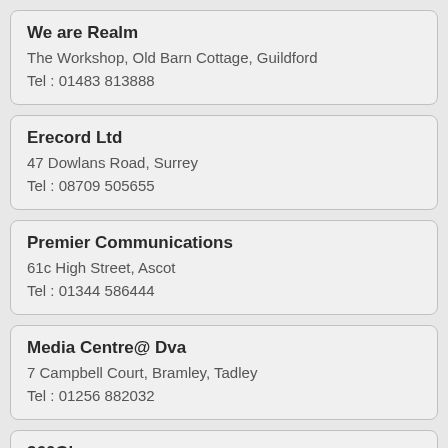We are Realm
The Workshop, Old Barn Cottage, Guildford
Tel : 01483 813888
Erecord Ltd
47 Dowlans Road, Surrey
Tel : 08709 505655
Premier Communications
61c High Street, Ascot
Tel : 01344 586444
Media Centre@ Dva
7 Campbell Court, Bramley, Tadley
Tel : 01256 882032
360Global Ltd...